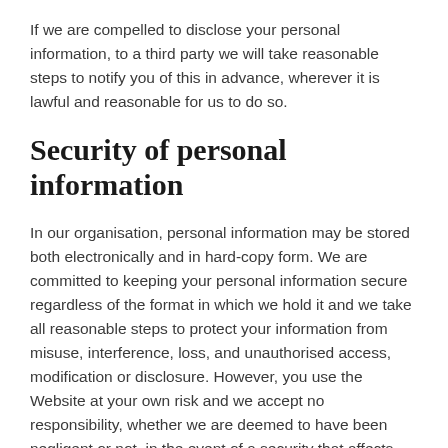If we are compelled to disclose your personal information, to a third party we will take reasonable steps to notify you of this in advance, wherever it is lawful and reasonable for us to do so.
Security of personal information
In our organisation, personal information may be stored both electronically and in hard-copy form. We are committed to keeping your personal information secure regardless of the format in which we hold it and we take all reasonable steps to protect your information from misuse, interference, loss, and unauthorised access, modification or disclosure. However, you use the Website at your own risk and we accept no responsibility, whether we are deemed to have been negligent or not, in the event of a security that affects your privacy.